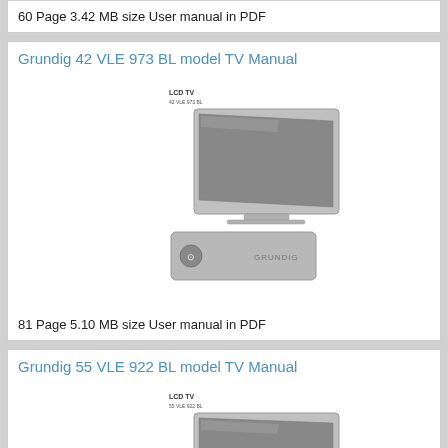60 Page 3.42 MB size User manual in PDF
Grundig 42 VLE 973 BL model TV Manual
[Figure (illustration): LCD TV 42 VLE 973 BL product image showing a flat screen TV and a Grundig remote control]
81 Page 5.10 MB size User manual in PDF
Grundig 55 VLE 922 BL model TV Manual
[Figure (illustration): LCD TV 55 VLE 922 BL product image showing a flat screen TV and a Grundig remote control (partially visible)]